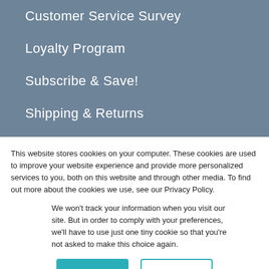Customer Service Survey
Loyalty Program
Subscribe & Save!
Shipping & Returns
This website stores cookies on your computer. These cookies are used to improve your website experience and provide more personalized services to you, both on this website and through other media. To find out more about the cookies we use, see our Privacy Policy.
We won't track your information when you visit our site. But in order to comply with your preferences, we'll have to use just one tiny cookie so that you're not asked to make this choice again.
Accept
Decline